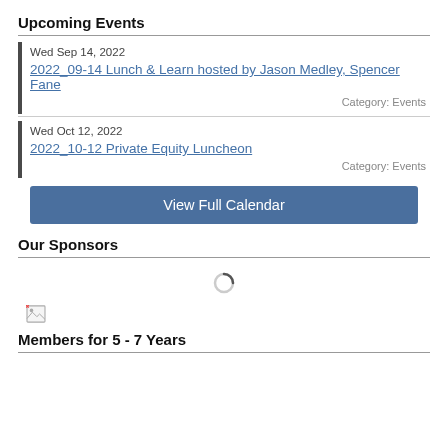Upcoming Events
Wed Sep 14, 2022
2022_09-14 Lunch & Learn hosted by Jason Medley, Spencer Fane
Category: Events
Wed Oct 12, 2022
2022_10-12 Private Equity Luncheon
Category: Events
View Full Calendar
Our Sponsors
[Figure (illustration): Loading spinner icon (circular loading indicator) and a broken image placeholder icon]
Members for 5 - 7 Years